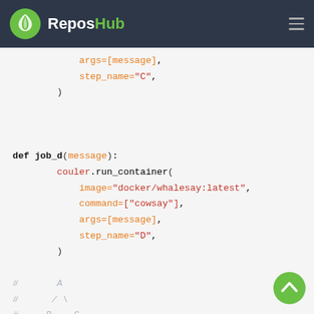ReposHub
Code snippet showing Python function job_d with couler.run_container call, and ASCII comment diagram showing A -> B, C -> D dependency graph
[Figure (screenshot): Scroll-to-top button (green circle with upward chevron)]